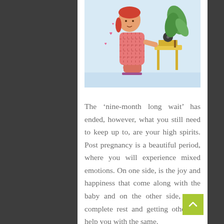[Figure (illustration): Illustration of a pregnant or postpartum woman sitting on a pink stool/chair, wearing pink checkered clothing, with a yellow side table with a plant and a record player nearby. Light blue background with heart decorations.]
The ‘nine-month long wait’ has ended, however, what you still need to keep up to, are your high spirits. Post pregnancy is a beautiful period, where you will experience mixed emotions. On one side, is the joy and happiness that come along with the baby and on the other side, …ng complete rest and getting others to help you with the same.